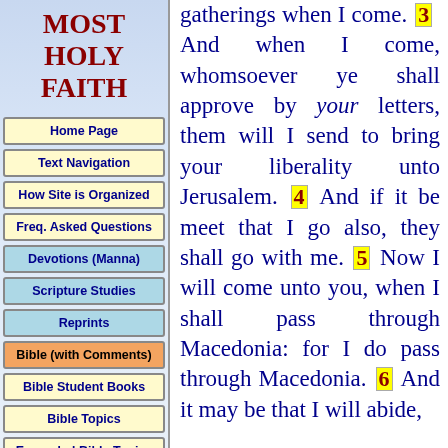MOST HOLY FAITH
Home Page
Text Navigation
How Site is Organized
Freq. Asked Questions
Devotions (Manna)
Scripture Studies
Reprints
Bible (with Comments)
Bible Student Books
Bible Topics
Expanded Bible Topics
Bible Student Webs
Miscellaneous
gatherings when I come. 3 And when I come, whomsoever ye shall approve by your letters, them will I send to bring your liberality unto Jerusalem. 4 And if it be meet that I go also, they shall go with me. 5 Now I will come unto you, when I shall pass through Macedonia: for I do pass through Macedonia. 6 And it may be that I will abide,